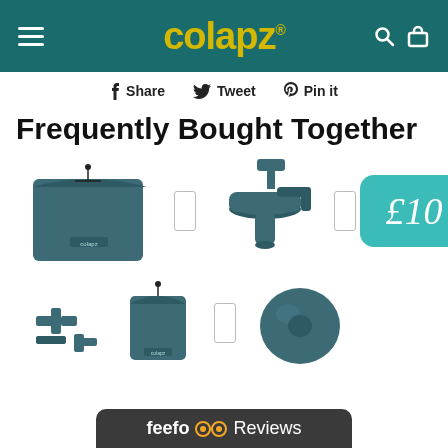colapz® — navigation header with hamburger menu, search, and bag icons
Share  Tweet  Pin it
Frequently Bought Together
[Figure (photo): Product image: dark teal drawstring pouch/bag with colapz branding]
[Figure (photo): Product image: dark teal collapsible tap/faucet accessory]
[Figure (photo): Gift card or voucher showing £10 on teal rounded rectangle background]
[Figure (photo): Product image row 2: dark teal pipe/connector accessories and a drawstring pouch]
[Figure (photo): Product image row 2: dark teal circular disc/cap accessory]
feefo Reviews